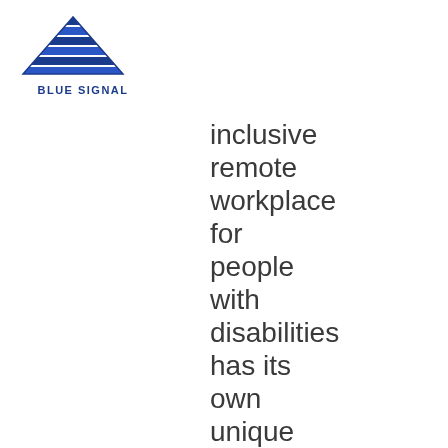[Figure (logo): Blue Signal company logo with triangular layered flag icon above the text 'BLUE SIGNAL' in bold dark blue letters]
inclusive remote workplace for people with disabilities has its own unique challenges. This may seem daunting